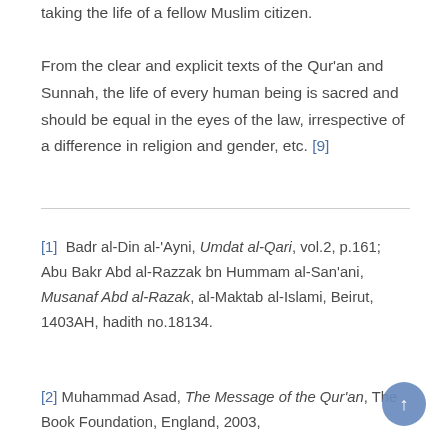taking the life of a fellow Muslim citizen. From the clear and explicit texts of the Qur'an and Sunnah, the life of every human being is sacred and should be equal in the eyes of the law, irrespective of a difference in religion and gender, etc. [9]
[1] Badr al-Din al-'Ayni, Umdat al-Qari, vol.2, p.161; Abu Bakr Abd al-Razzak bn Hummam al-San'ani, Musanaf Abd al-Razak, al-Maktab al-Islami, Beirut, 1403AH, hadith no.18134.
[2] Muhammad Asad, The Message of the Qur'an, The Book Foundation, England, 2003,